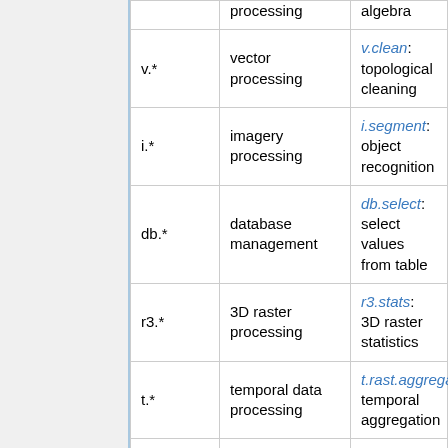| Prefix | Description | Example |
| --- | --- | --- |
| v.* | vector processing | v.clean: topological cleaning |
| i.* | imagery processing | i.segment: object recognition |
| db.* | database management | db.select: select values from table |
| r3.* | 3D raster processing | r3.stats: 3D raster statistics |
| t.* | temporal data processing | t.rast.aggregate: temporal aggregation |
| g.* | general data management | g.rename: renames map |
| d.* | display | d.rast: display |